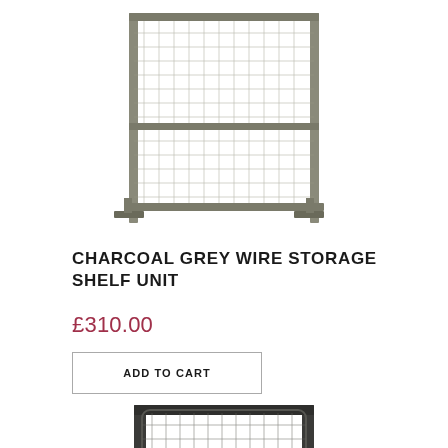[Figure (photo): Charcoal grey wire storage shelf unit, viewed from the front, showing metal grid/mesh panels and shelves, industrial style, partially cropped at top]
CHARCOAL GREY WIRE STORAGE SHELF UNIT
£310.00
ADD TO CART
[Figure (photo): Charcoal grey wire storage shelf unit, second product image, viewed from front showing dark metal frame with mesh panels and shelves, partially cropped at bottom]